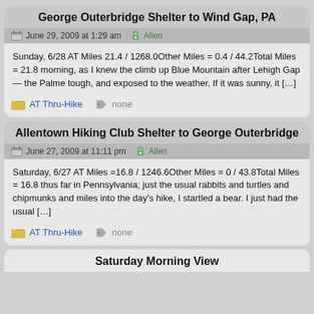George Outerbridge Shelter to Wind Gap, PA
June 29, 2009 at 1:29 am  Allen
Sunday, 6/28 AT Miles 21.4 / 1268.0Other Miles = 0.4 / 44.2Total Miles = 21.8 morning, as I knew the climb up Blue Mountain after Lehigh Gap — the Palme tough, and exposed to the weather. If it was sunny, it […]
AT Thru-Hike  none
Allentown Hiking Club Shelter to George Outerbridge
June 27, 2009 at 11:11 pm  Allen
Saturday, 6/27 AT Miles =16.8 / 1246.6Other Miles = 0 / 43.8Total Miles = 16.8 thus far in Pennsylvania; just the usual rabbits and turtles and chipmunks and miles into the day's hike, I startled a bear. I just had the usual […]
AT Thru-Hike  none
Saturday Morning View